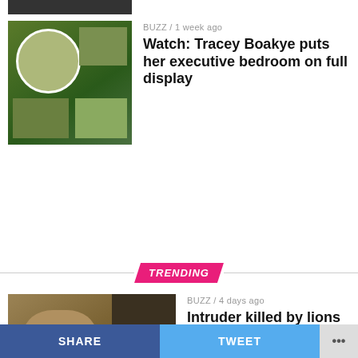[Figure (photo): Partial top thumbnail of a person]
[Figure (photo): Tracey Boakye in green outfit with circular photo collage]
BUZZ / 1 week ago
Watch: Tracey Boakye puts her executive bedroom on full display
TRENDING
[Figure (photo): Lions at Accra Zoo]
BUZZ / 4 days ago
Intruder killed by lions in the Accra Zoo
[Figure (photo): Two people, former Italian footballer story]
WORLD NEWS / 5 days ago
Former Italian footballer beats
SHARE   TWEET   •••